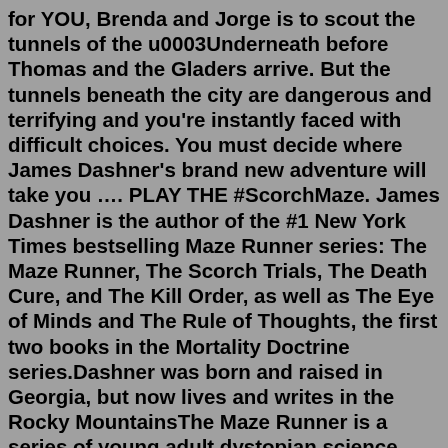for YOU, Brenda and Jorge is to scout the tunnels of the u0003Underneath before Thomas and the Gladers arrive. But the tunnels beneath the city are dangerous and terrifying and you're instantly faced with difficult choices. You must decide where James Dashner's brand new adventure will take you …. PLAY THE #ScorchMaze. James Dashner is the author of the #1 New York Times bestselling Maze Runner series: The Maze Runner, The Scorch Trials, The Death Cure, and The Kill Order, as well as The Eye of Minds and The Rule of Thoughts, the first two books in the Mortality Doctrine series.Dashner was born and raised in Georgia, but now lives and writes in the Rocky MountainsThe Maze Runner is a series of young adult dystopian science fiction novels written by American author James Dashner. The series consists of The Maze Runner (2009), The Scorch Trials (2010) and The Death Cure (2011), as well as two prequel novels, The Kill Order (2012) and The Fever Code (2016), a novella titled Crank Palace (2020), and a companion book titled The M…